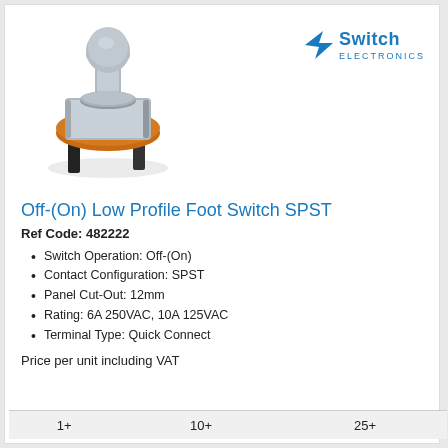[Figure (photo): Photo of an Off-(On) Low Profile Foot Switch SPST, showing a metallic push-button switch with orange/brown base and quick-connect terminals]
[Figure (logo): Switch Electronics logo: blue lightning bolt arrow icon with 'Switch ELECTRONICS' text in blue]
Off-(On) Low Profile Foot Switch SPST
Ref Code: 482222
Switch Operation: Off-(On)
Contact Configuration: SPST
Panel Cut-Out: 12mm
Rating: 6A 250VAC, 10A 125VAC
Terminal Type: Quick Connect
Price per unit including VAT
| 1+ | 10+ | 25+ |
| --- | --- | --- |